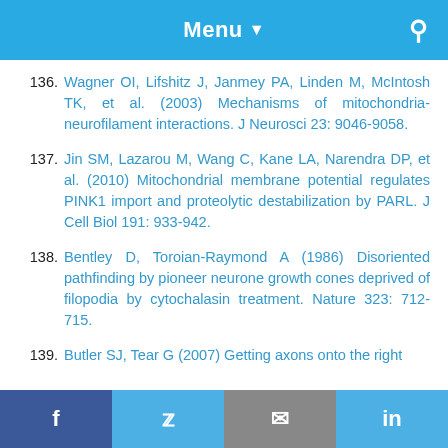Menu
136. Wagner OI, Lifshitz J, Janmey PA, Linden M, McIntosh TK, et al. (2003) Mechanisms of mitochondria-neurofilament interactions. J Neurosci 23: 9046-9058.
137. Jin SM, Lazarou M, Wang C, Kane LA, Narendra DP, et al. (2010) Mitochondrial membrane potential regulates PINK1 import and proteolytic destabilization by PARL. J Cell Biol 191: 933-942.
138. Bentley D, Toroian-Raymond A (1986) Disoriented pathfinding by pioneer neurone growth cones deprived of filopodia by cytochalasin treatment. Nature 323: 712-715.
139. Butler SJ, Tear G (2007) Getting axons onto the right